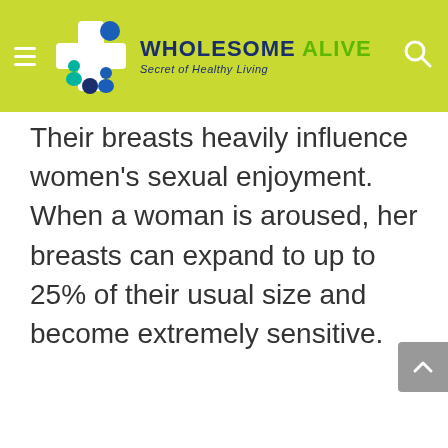[Figure (logo): Wholesome Alive website header with logo, site name 'WHOLESOME ALIVE', tagline 'Secret of Healthy Living', hamburger menu icon, and search icon on a yellow-green background.]
Their breasts heavily influence women's sexual enjoyment. When a woman is aroused, her breasts can expand to up to 25% of their usual size and become extremely sensitive.